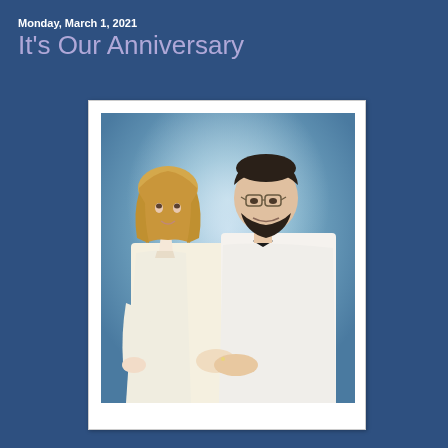Monday, March 1, 2021
It's Our Anniversary
[Figure (photo): A formal portrait photo of a couple. A woman with blonde hair wearing a white suit stands on the left, and a man with dark hair and a beard wearing a white jacket with a black bow tie stands on the right. They are holding hands and smiling, posed against a blue-grey studio background. The photo has a white border like a printed photograph.]